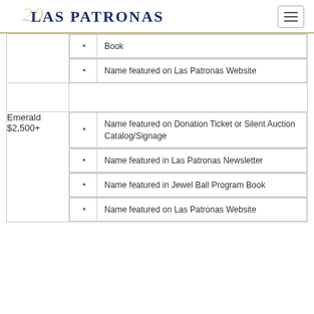LAS PATRONAS
| Tier | Benefit |
| --- | --- |
|  | • Book |
|  | • Name featured on Las Patronas Website |
| Emerald $2,500+ | • Name featured on Donation Ticket or Silent Auction Catalog/Signage |
|  | • Name featured in Las Patronas Newsletter |
|  | • Name featured in Jewel Ball Program Book |
|  | • Name featured on Las Patronas Website |